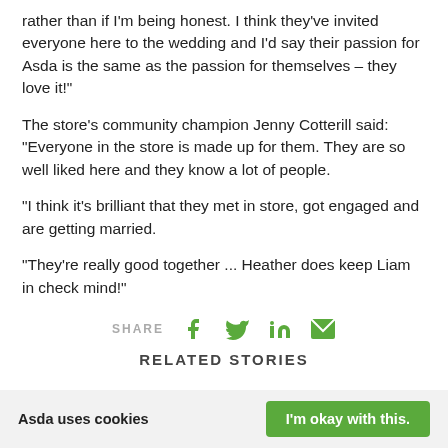rather than if I'm being honest. I think they've invited everyone here to the wedding and I'd say their passion for Asda is the same as the passion for themselves – they love it!"
The store's community champion Jenny Cotterill said: "Everyone in the store is made up for them. They are so well liked here and they know a lot of people.
"I think it's brilliant that they met in store, got engaged and are getting married.
"They're really good together ... Heather does keep Liam in check mind!"
[Figure (infographic): Share bar with SHARE label and social media icons: Facebook, Twitter, LinkedIn, Email in green]
RELATED STORIES
Asda uses cookies   I'm okay with this.